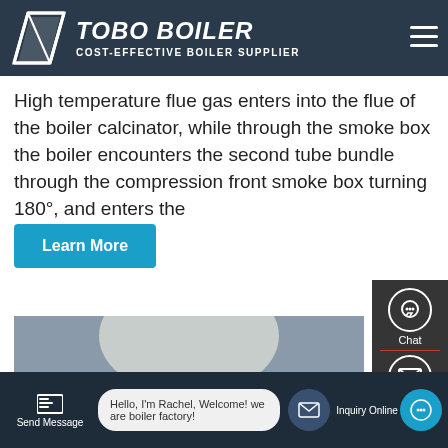TOBO BOILER — COST-EFFECTIVE BOILER SUPPLIER
High temperature flue gas enters into the flue of the boiler calcinator, while through the smoke box the boiler encounters the second tube bundle through the compression front smoke box turning 180°, and enters the
Learn More
[Figure (photo): Industrial gas boiler with red burner, yellow gas pipes, stainless steel piping and corrugated flexible connections inside a factory building. WhatsApp icon and 'Contact us now!' green button overlay visible.]
Send Message | Hello, I'm Rachel, Welcome! we are boiler factory! | Inquiry Online